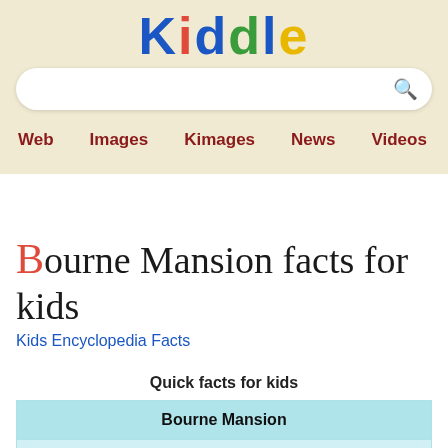[Figure (logo): Kiddle logo in multicolor letters: K(blue) i(red) d(blue) d(green) l(blue) e(yellow)]
[Figure (screenshot): Search bar with magnifying glass icon on cream background]
Web  Images  Kimages  News  Videos  Kpedia
Bourne Mansion facts for kids
Kids Encyclopedia Facts
Quick facts for kids
| Bourne Mansion |
| --- |
| U.S. National Register of Historic Places |